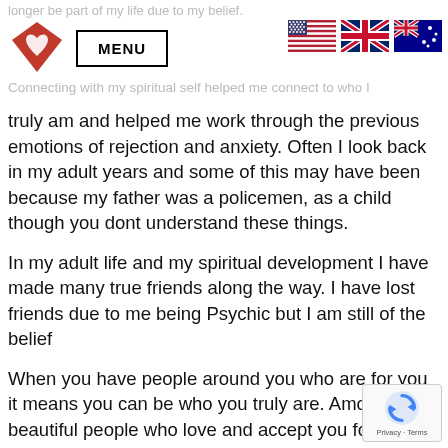longer be part of my life due to my belief. Connecting with my spiritual self helped me connect to who I
truly am and helped me work through the previous emotions of rejection and anxiety. Often I look back in my adult years and some of this may have been because my father was a policemen, as a child though you dont understand these things.
In my adult life and my spiritual development I have made many true friends along the way. I have lost friends due to me being Psychic but I am still of the belief
When you have people around you who are for you it means you can be who you truly are. Among these beautiful people who love and accept you for who you are you become braver to be the person you are meant to be and you do find yourself becoming braver. You show them parts of yourself that have previously hidden, and not only are they not rejecting